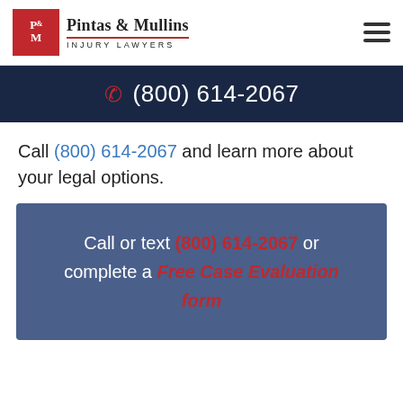Pintas & Mullins Injury Lawyers
(800) 614-2067
Call (800) 614-2067 and learn more about your legal options.
Call or text (800) 614-2067 or complete a Free Case Evaluation form